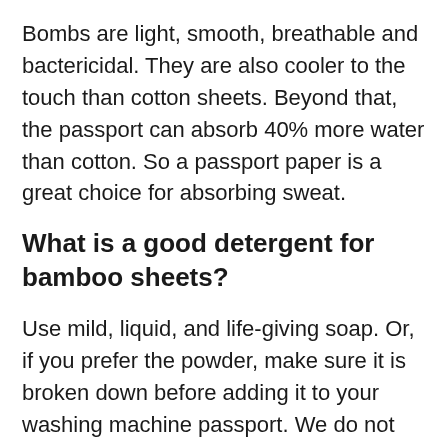Bombs are light, smooth, breathable and bactericidal. They are also cooler to the touch than cotton sheets. Beyond that, the passport can absorb 40% more water than cotton. So a passport paper is a great choice for absorbing sweat.
What is a good detergent for bamboo sheets?
Use mild, liquid, and life-giving soap. Or, if you prefer the powder, make sure it is broken down before adding it to your washing machine passport. We do not recommend the use of bleach, as it is often full of toxic chemicals. Friendly Eco Pre-Wet Dressing and Pressure Removal can help brighten up your passport.